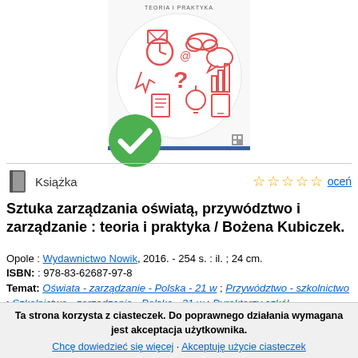[Figure (illustration): Book cover showing a circle with red doodle-style icons (clock, cloud, question mark, lightbulb, etc.) on white background with blue bottom strip. A green checkmark badge overlays the bottom-left of the cover. Title text 'TEORIA I PRAKTYKA' at top of cover.]
Książka
oceń
Sztuka zarządzania oświatą, przywództwo i zarządzanie : teoria i praktyka / Bożena Kubiczek.
Opole : Wydawnictwo Nowik, 2016. - 254 s. : il. ; 24 cm.
ISBN: : 978-83-62687-97-8
Temat: Oświata - zarządzanie - Polska - 21 w ; Przywództwo - szkolnictwo ; Szkolnictwo - zarządzanie - Polska - 21 w ; Dyrektorzy szkół
Ta strona korzysta z ciasteczek. Do poprawnego działania wymagana jest akceptacja użytkownika.
Chcę dowiedzieć się więcej · Akceptuję użycie ciasteczek